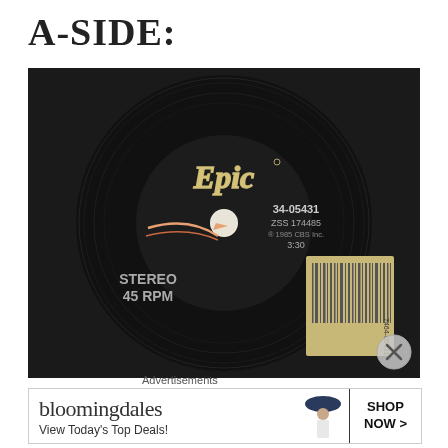A-SIDE:
[Figure (photo): A vinyl 45 RPM record with the Epic Records label showing catalog number 34-05431, ZSS 174485, © 1985 CBS Inc., 3:30. A barcode sticker reads 7464-05431-7. The label shows STEREO 45 RPM and the Epic logo with a shooting star design.]
Advertisements
[Figure (other): Bloomingdale's advertisement banner with text 'bloomingdales', 'View Today's Top Deals!', image of woman in hat, and 'SHOP NOW >' button.]